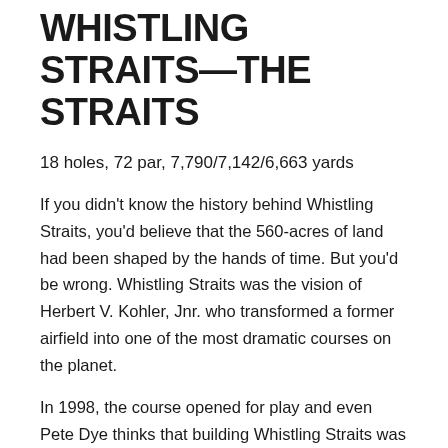WHISTLING STRAITS—THE STRAITS
18 holes, 72 par, 7,790/7,142/6,663 yards
If you didn't know the history behind Whistling Straits, you'd believe that the 560-acres of land had been shaped by the hands of time. But you'd be wrong. Whistling Straits was the vision of Herbert V. Kohler, Jnr. who transformed a former airfield into one of the most dramatic courses on the planet.
In 1998, the course opened for play and even Pete Dye thinks that building Whistling Straits was a "once in a lifetime thing". It took a few million dollars and a Herculean effort to build the incredible Straits course, which is sculpted for two miles alongside the Lake Michigan shoreline.
With an interesting figure of eight routing for both